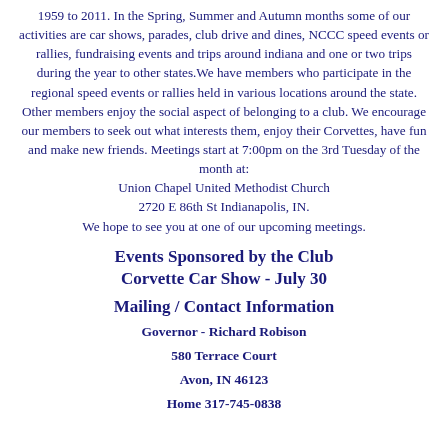1959 to 2011. In the Spring, Summer and Autumn months some of our activities are car shows, parades, club drive and dines, NCCC speed events or rallies, fundraising events and trips around indiana and one or two trips during the year to other states.We have members who participate in the regional speed events or rallies held in various locations around the state. Other members enjoy the social aspect of belonging to a club. We encourage our members to seek out what interests them, enjoy their Corvettes, have fun and make new friends. Meetings start at 7:00pm on the 3rd Tuesday of the month at: Union Chapel United Methodist Church 2720 E 86th St Indianapolis, IN. We hope to see you at one of our upcoming meetings.
Events Sponsored by the Club
Corvette Car Show - July 30
Mailing / Contact Information
Governor - Richard Robison
580 Terrace Court
Avon, IN 46123
Home  317-745-0838